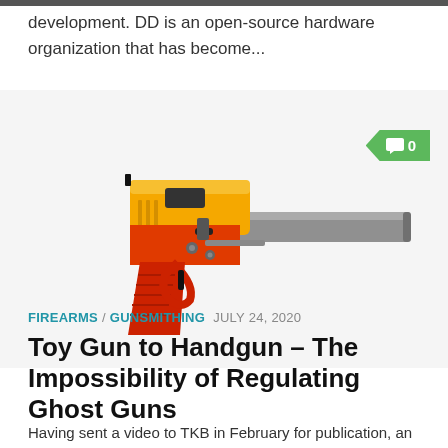development. DD is an open-source hardware organization that has become...
[Figure (photo): A 3D-printed handgun with red and orange plastic body with yellow upper receiver and a metal barrel, displayed on a white background. A green comment badge showing '0' is visible in the top-right area.]
FIREARMS / GUNSMITHING  JULY 24, 2020
Toy Gun to Handgun – The Impossibility of Regulating Ghost Guns
Having sent a video to TKB in February for publication, an anonymous writer has approached us once more with the